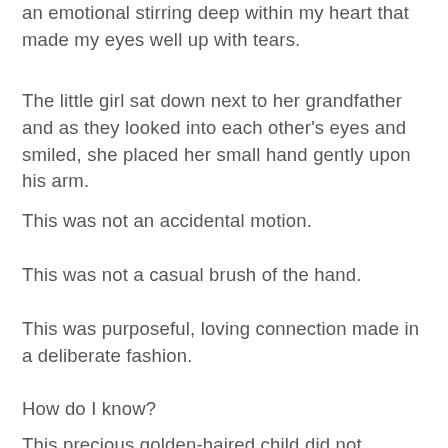an emotional stirring deep within my heart that made my eyes well up with tears.
The little girl sat down next to her grandfather and as they looked into each other's eyes and smiled, she placed her small hand gently upon his arm.
This was not an accidental motion.
This was not a casual brush of the hand.
This was purposeful, loving connection made in a deliberate fashion.
How do I know?
This precious golden-haired child did not remove her hand